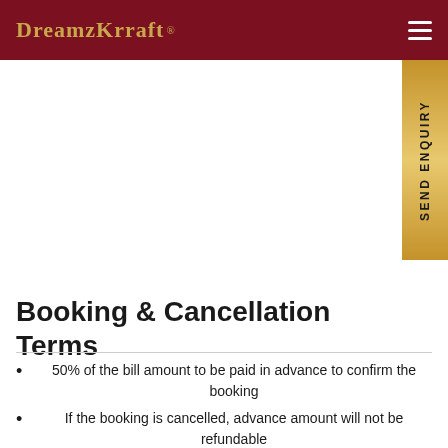DREAMZKRRAFT® — navigation header
Booking & Cancellation Terms
50% of the bill amount to be paid in advance to confirm the booking
If the booking is cancelled, advance amount will not be refundable